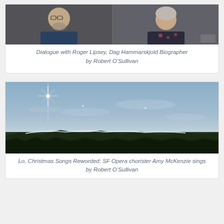[Figure (photo): Two people visible in a video call screenshot. Left side shows an older man with glasses and gray beard wearing a dark blue shirt against a wood-paneled background. Right side shows an older woman with gray hair wearing a dark floral top.]
Dialogue with Roger Lipsey, Dag Hammarskjold Biographer by Robert O’Sullivan
[Figure (photo): A nighttime or twilight sky scene showing a bright star or light burst in the upper left portion of the image, with mountain silhouettes along the bottom and a snow-capped ridge line. The sky is a blue-gray color with scattered clouds.]
Lo, Christmas Songs Reworded; SF Opera chorister Amy McKenzie sings by Robert O’Sullivan